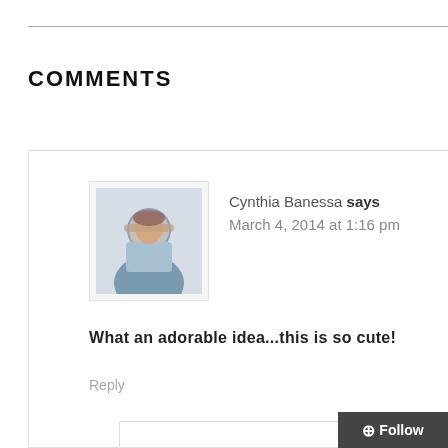COMMENTS
Cynthia Banessa says
March 4, 2014 at 1:16 pm
What an adorable idea...this is so cute!
Reply
Jenny says
March 5, 2014 at 4:24 am